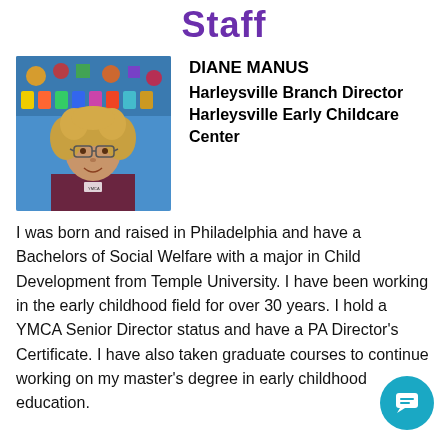Staff
[Figure (photo): Headshot photo of Diane Manus, a woman with curly blonde hair and glasses, wearing a dark patterned shirt, standing in front of a colorful classroom bulletin board.]
DIANE MANUS
Harleysville Branch Director Harleysville Early Childcare Center
I was born and raised in Philadelphia and have a Bachelors of Social Welfare with a major in Child Development from Temple University. I have been working in the early childhood field for over 30 years. I hold a YMCA Senior Director status and have a PA Director's Certificate. I have also taken graduate courses to continue working on my master's degree in early childhood education.